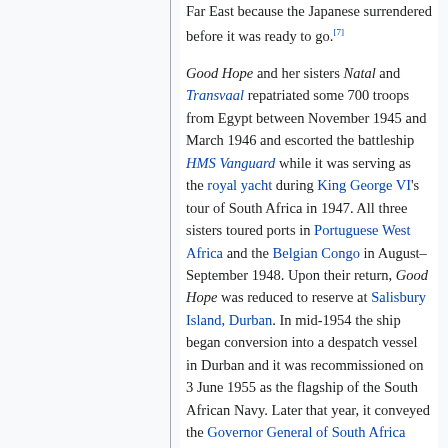Far East because the Japanese surrendered before it was ready to go.[7] Good Hope and her sisters Natal and Transvaal repatriated some 700 troops from Egypt between November 1945 and March 1946 and escorted the battleship HMS Vanguard while it was serving as the royal yacht during King George VI's tour of South Africa in 1947. All three sisters toured ports in Portuguese West Africa and the Belgian Congo in August–September 1948. Upon their return, Good Hope was reduced to reserve at Salisbury Island, Durban. In mid-1954 the ship began conversion into a despatch vessel in Durban and it was recommissioned on 3 June 1955 as the flagship of the South African Navy. Later that year, it conveyed the Governor General of South Africa